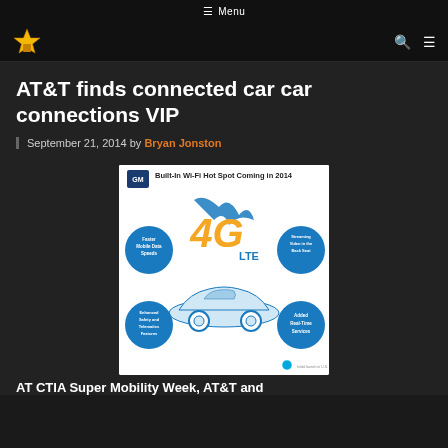☰ Menu
[Figure (logo): Star logo in top navigation bar with search and menu icons]
AT&T finds connected car car connections VIP
September 21, 2014 by Bryan Jonston
[Figure (infographic): GM Built-In Wi-Fi Hot Spot Coming in 2014 infographic showing 4G LTE logo with a car and four blue circles: Faster Mobile Data Speeds, Streaming Video in the Back Seat, Enhanced Safety and Telematics Features, Added Real-Time Services. Bottom text: Initial launch in U.S. and Canada only]
AT CTIA Super Mobility Week, AT&T and